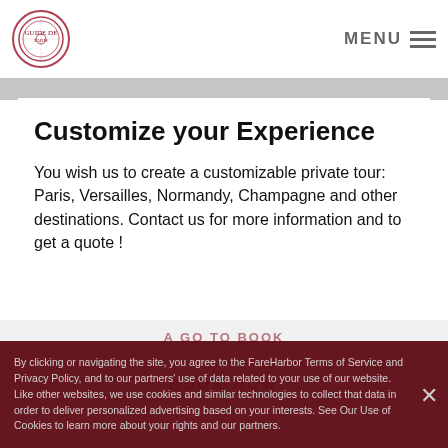[Figure (logo): Circular logo with decorative border and emblem in center]
MENU ≡
Customize your Experience
You wish us to create a customizable private tour: Paris, Versailles, Normandy, Champagne and other destinations. Contact us for more information and to get a quote !
By clicking or navigating the site, you agree to the FareHarbor Terms of Service and Privacy Policy, and to our partners' use of data related to your use of our website. Like other websites, we use cookies and similar technologies to collect that data in order to deliver personalized advertising based on your interests. See Our Use of Cookies to learn more about your rights and our partners.